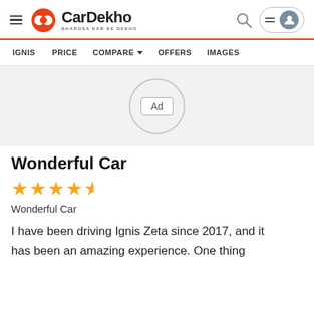CarDekho BHAROSA KAR KE DEKHO
IGNIS   PRICE   COMPARE   OFFERS   IMAGES
[Figure (other): Advertisement placeholder circle with 'Ad' label]
Wonderful Car
[Figure (other): 4 and a half star rating out of 5]
Wonderful Car
I have been driving Ignis Zeta since 2017, and it has been an amazing experience. One thing